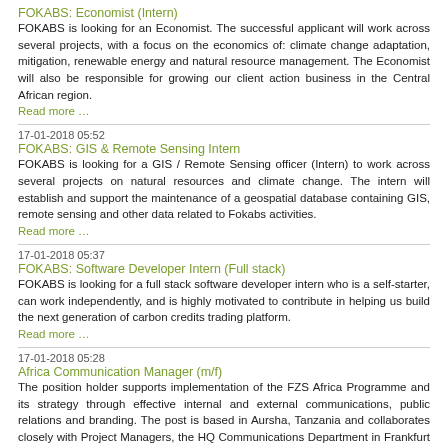FOKABS: Economist (Intern)
FOKABS is looking for an Economist. The successful applicant will work across several projects, with a focus on the economics of: climate change adaptation, mitigation, renewable energy and natural resource management. The Economist will also be responsible for growing our client action business in the Central African region.
Read more …
17-01-2018 05:52
FOKABS: GIS & Remote Sensing Intern
FOKABS is looking for a GIS / Remote Sensing officer (Intern) to work across several projects on natural resources and climate change. The intern will establish and support the maintenance of a geospatial database containing GIS, remote sensing and other data related to Fokabs activities.
Read more …
17-01-2018 05:37
FOKABS: Software Developer Intern (Full stack)
FOKABS is looking for a full stack software developer intern who is a self-starter, can work independently, and is highly motivated to contribute in helping us build the next generation of carbon credits trading platform.
Read more …
17-01-2018 05:28
Africa Communication Manager (m/f)
The position holder supports implementation of the FZS Africa Programme and its strategy through effective internal and external communications, public relations and branding. The post is based in Aursha, Tanzania and collaborates closely with Project Managers, the HQ Communications Department in Frankfurt and other members of the Africa Programme team.